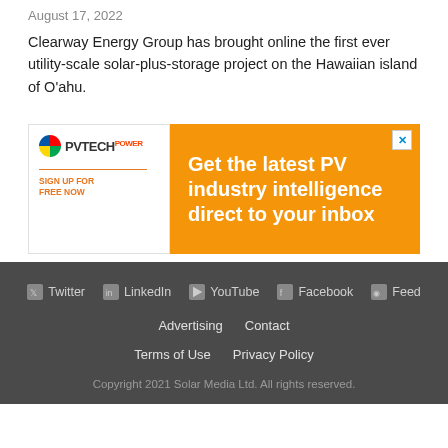August 17, 2022
Clearway Energy Group has brought online the first ever utility-scale solar-plus-storage project on the Hawaiian island of O'ahu.
[Figure (other): Advertisement banner with PV Tech logo on the left and orange background section on the right reading 'Get the latest PV industry intelligence direct to your inbox']
Twitter  LinkedIn  YouTube  Facebook  Feed
Advertising  Contact
Terms of Use  Privacy Policy
Copyright 2021 Solar Media Ltd. All rights reserved.